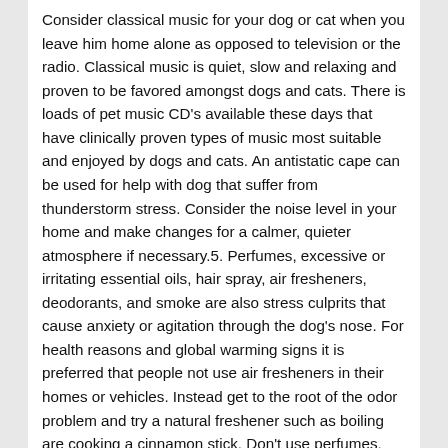Consider classical music for your dog or cat when you leave him home alone as opposed to television or the radio. Classical music is quiet, slow and relaxing and proven to be favored amongst dogs and cats. There is loads of pet music CD's available these days that have clinically proven types of music most suitable and enjoyed by dogs and cats. An antistatic cape can be used for help with dog that suffer from thunderstorm stress. Consider the noise level in your home and make changes for a calmer, quieter atmosphere if necessary.5. Perfumes, excessive or irritating essential oils, hair spray, air fresheners, deodorants, and smoke are also stress culprits that cause anxiety or agitation through the dog's nose. For health reasons and global warming signs it is preferred that people not use air fresheners in their homes or vehicles. Instead get to the root of the odor problem and try a natural freshener such as boiling are cooking a cinnamon stick. Don't use perfumes, deodorants, hair sprays or smoke around your pet. Instead keep use of these items to one room to keep the rest of the house clean.6. For anxiety and fear, pet owners will often